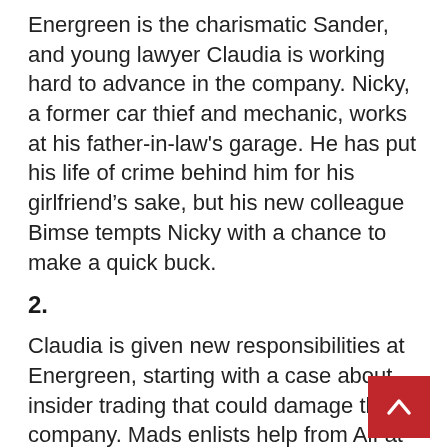Energreen is the charismatic Sander, and young lawyer Claudia is working hard to advance in the company. Nicky, a former car thief and mechanic, works at his father-in-law's garage. He has put his life of crime behind him for his girlfriend's sake, but his new colleague Bimse tempts Nicky with a chance to make a quick buck.
2.
Claudia is given new responsibilities at Energreen, starting with a case about insider trading that could damage the company. Mads enlists help from Alf at the fraud squad to find a connection between the death at the wind farm and Alf's impression of Energreen as being a little too clever. At home, Mads is trying to keep his family and home running smoothly despite his wife's recent multiple scle attack. Bimse and Nicky's car theft gives surprising